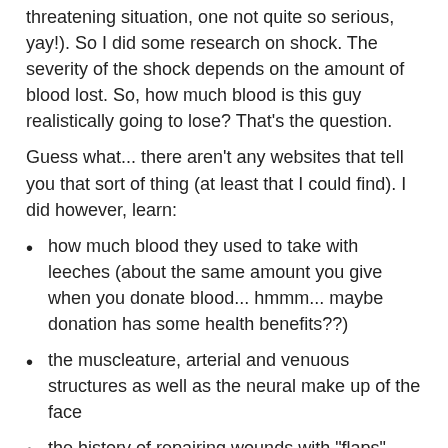threatening situation, one not quite so serious, yay!). So I did some research on shock. The severity of the shock depends on the amount of blood lost. So, how much blood is this guy realistically going to lose? That's the question.
Guess what... there aren't any websites that tell you that sort of thing (at least that I could find). I did however, learn:
how much blood they used to take with leeches (about the same amount you give when you donate blood... hmmm... maybe donation has some health benefits??)
the muscleature, arterial and venuous structures as well as the neural make up of the face
the history of repairing wounds with "flaps" (yes, he's definately going to get a flap wound!)
the ethical dilmemmas a doctor faces with patients who refuse blood tranfusions and optimal treatment plans for them (unfortunately not very useful to me, since those were all modern solutions...)